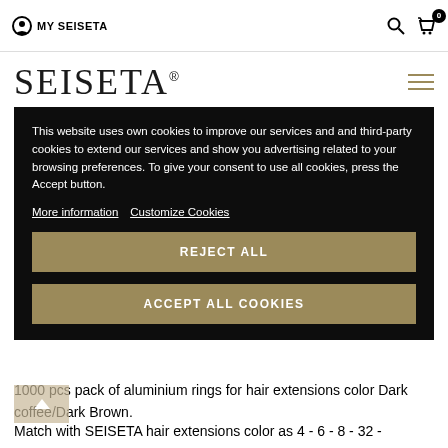MY SEISETA
SEISETA
This website uses own cookies to improve our services and and third-party cookies to extend our services and show you advertising related to your browsing preferences. To give your consent to use all cookies, press the Accept button.
More information  Customize Cookies
REJECT ALL
ACCEPT ALL COOKIES
1000 pcs pack of aluminium rings for hair extensions color Dark coffee/Dark Brown.
Match with SEISETA hair extensions color as 4 - 6 - 8 - 32 -